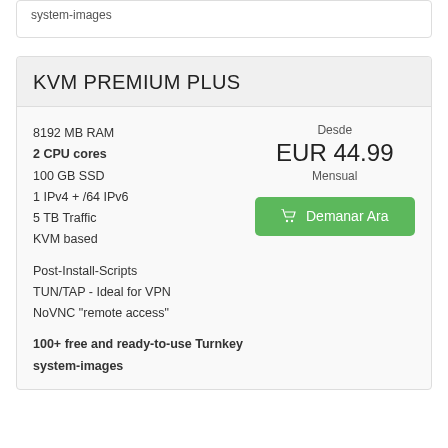system-images
KVM PREMIUM PLUS
8192 MB RAM
2 CPU cores
100 GB SSD
1 IPv4 + /64 IPv6
5 TB Traffic
KVM based
Desde
EUR 44.99
Mensual
Demanar Ara
Post-Install-Scripts
TUN/TAP - Ideal for VPN
NoVNC "remote access"
100+ free and ready-to-use Turnkey system-images